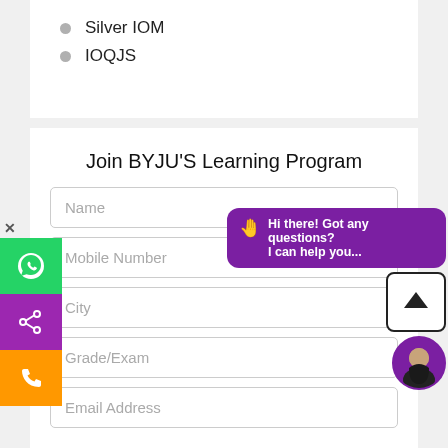Silver IOM
IOQJS
Join BYJU'S Learning Program
Name
Mobile Number
City
Grade/Exam
Email Address
[Figure (screenshot): Chat bubble popup with text 'Hi there! Got any questions? I can help you...' and an upload arrow button and avatar circle]